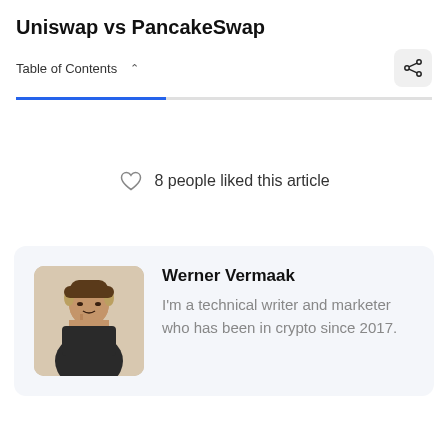Uniswap vs PancakeSwap
Table of Contents ˅
8 people liked this article
[Figure (photo): Author photo of Werner Vermaak, a man in a dark jacket]
Werner Vermaak
I'm a technical writer and marketer who has been in crypto since 2017.